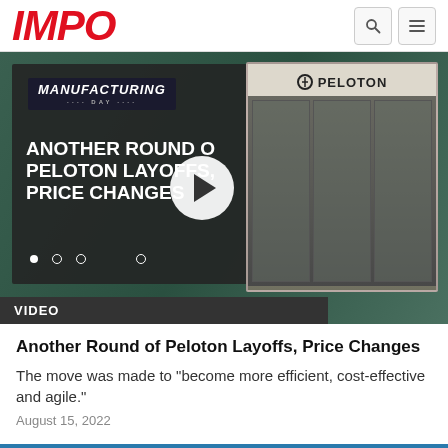IMPO
[Figure (screenshot): Video thumbnail showing 'Another Round of Peloton Layoffs, Price Changes' with Manufacturing Day branding on left and a Peloton store exterior on right, with a play button overlay and carousel navigation dots. A dark bar at the bottom reads VIDEO.]
Another Round of Peloton Layoffs, Price Changes
The move was made to "become more efficient, cost-effective and agile."
August 15, 2022